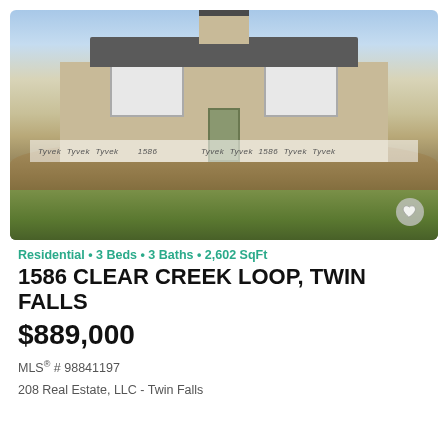[Figure (photo): Exterior photo of a house under construction at 1586 Clear Creek Loop, Twin Falls. The single-story home has a tan/beige stucco exterior with dark roof, multiple windows, a center door, and Tyvek house wrap visible near the foundation. Dirt mounds and green grass in foreground.]
Residential • 3 Beds • 3 Baths • 2,602 SqFt
1586 CLEAR CREEK LOOP, TWIN FALLS
$889,000
MLS® # 98841197
208 Real Estate, LLC - Twin Falls